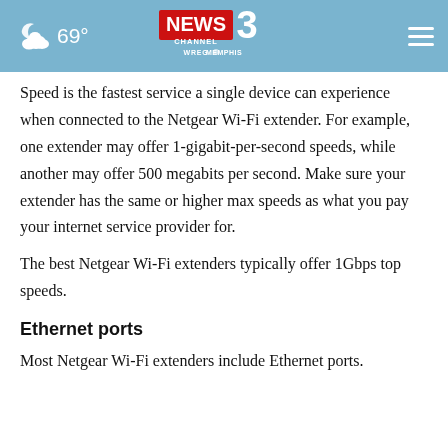69° NEWS CHANNEL 3 WREG Memphis
Speed is the fastest service a single device can experience when connected to the Netgear Wi-Fi extender. For example, one extender may offer 1-gigabit-per-second speeds, while another may offer 500 megabits per second. Make sure your extender has the same or higher max speeds as what you pay your internet service provider for.
The best Netgear Wi-Fi extenders typically offer 1Gbps top speeds.
Ethernet ports
Most Netgear Wi-Fi extenders include Ethernet ports.